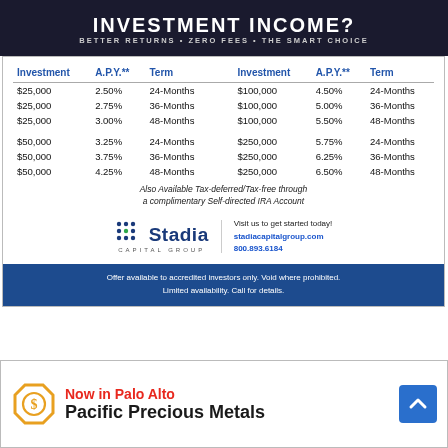INVESTMENT INCOME?
BETTER RETURNS • ZERO FEES • THE SMART CHOICE
| Investment | A.P.Y.** | Term |  | Investment | A.P.Y.** | Term |
| --- | --- | --- | --- | --- | --- | --- |
| $25,000 | 2.50% | 24-Months |  | $100,000 | 4.50% | 24-Months |
| $25,000 | 2.75% | 36-Months |  | $100,000 | 5.00% | 36-Months |
| $25,000 | 3.00% | 48-Months |  | $100,000 | 5.50% | 48-Months |
| $50,000 | 3.25% | 24-Months |  | $250,000 | 5.75% | 24-Months |
| $50,000 | 3.75% | 36-Months |  | $250,000 | 6.25% | 36-Months |
| $50,000 | 4.25% | 48-Months |  | $250,000 | 6.50% | 48-Months |
Also Available Tax-deferred/Tax-free through a complimentary Self-directed IRA Account
[Figure (logo): Stadia Capital Group logo with dot pattern]
Visit us to get started today! stadiacapitalgroup.com 800.893.6184
Offer available to accredited investors only. Void where prohibited. Limited availability. Call for details.
[Figure (logo): Pacific Precious Metals logo - gold hexagonal S coin icon]
Now in Palo Alto Pacific Precious Metals